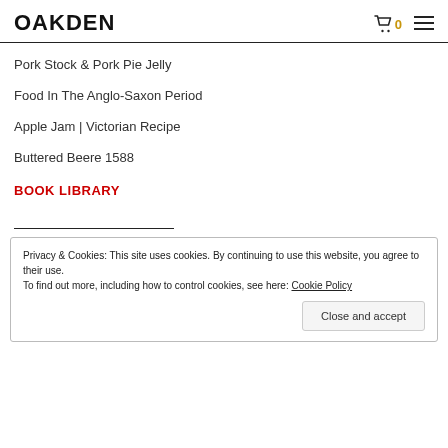OAKDEN
Pork Stock & Pork Pie Jelly
Food In The Anglo-Saxon Period
Apple Jam | Victorian Recipe
Buttered Beere 1588
BOOK LIBRARY
Privacy & Cookies: This site uses cookies. By continuing to use this website, you agree to their use.
To find out more, including how to control cookies, see here: Cookie Policy
Close and accept